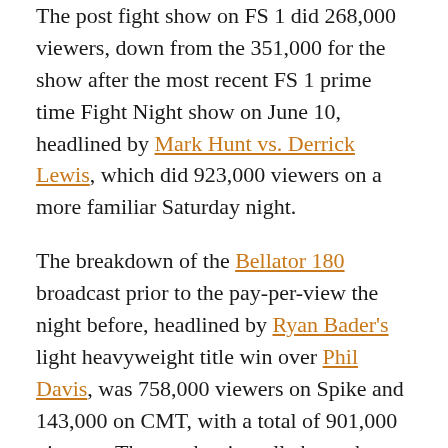The post fight show on FS 1 did 268,000 viewers, down from the 351,000 for the show after the most recent FS 1 prime time Fight Night show on June 10, headlined by Mark Hunt vs. Derrick Lewis, which did 923,000 viewers on a more familiar Saturday night.
The breakdown of the Bellator 180 broadcast prior to the pay-per-view the night before, headlined by Ryan Bader's light heavyweight title win over Phil Davis, was 758,000 viewers on Spike and 143,000 on CMT, with a total of 901,000 viewers. The number is well above the usual Bellator average for a show, but it was expected to be with two of the company's key free-agent signings from UFC headlining and it being the prelims before what was pushed as the biggest Bellator show in history.
The Ultimate Fighter reality show also pulled well this past week. The June 21 show did 456,000 viewers, the best